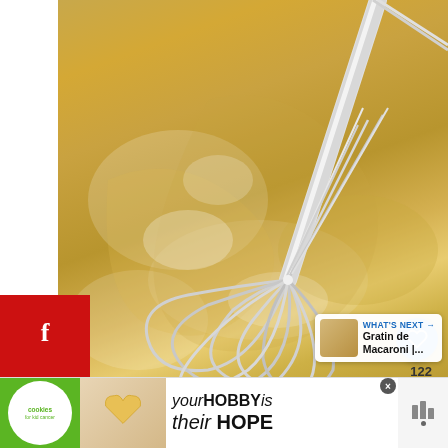[Figure (photo): Close-up photo of a metal whisk being used in a pot with a golden/yellow sauce or roux. The whisk is stainless steel with multiple wire loops, and the sauce appears creamy and yellow-golden in color. The pot has a light-colored interior.]
[Figure (screenshot): Social media sidebar buttons on the left showing Facebook (f) and Pinterest (P) icons on a red background. On the right side, a circular heart/like button showing 122 and a share button. A 'What's Next' card showing a thumbnail and text 'Gratin de Macaroni |...']
[Figure (screenshot): Advertisement banner at the bottom showing 'cookies for kid cancer' logo with a green background, a photo of heart-shaped cookie, and text 'your HOBBY is their HOPE' with Mediavine logo on the right.]